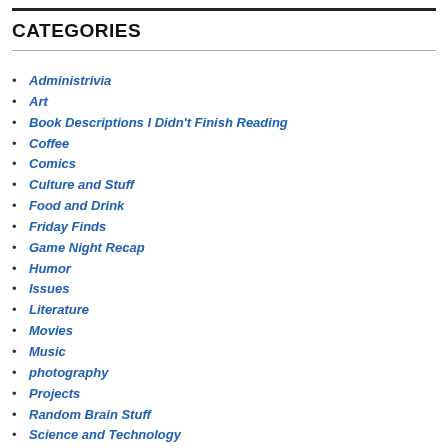CATEGORIES
Administrivia
Art
Book Descriptions I Didn't Finish Reading
Coffee
Comics
Culture and Stuff
Food and Drink
Friday Finds
Game Night Recap
Humor
Issues
Literature
Movies
Music
photography
Projects
Random Brain Stuff
Science and Technology
Television
The Coffee Thing
Uncategorized